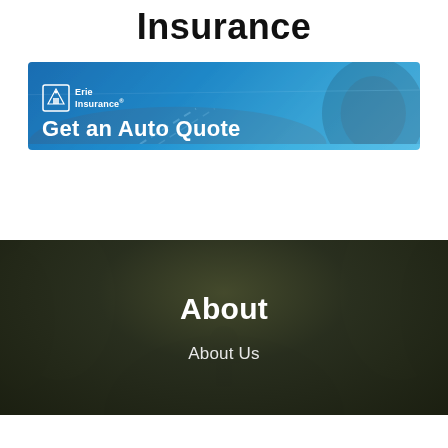Insurance
[Figure (photo): Erie Insurance banner ad with blue background showing a road and car wheel, with text 'Get an Auto Quote']
[Figure (photo): Dark green/brown nature background with silhouette of a person, containing 'About' heading and 'About Us' link text]